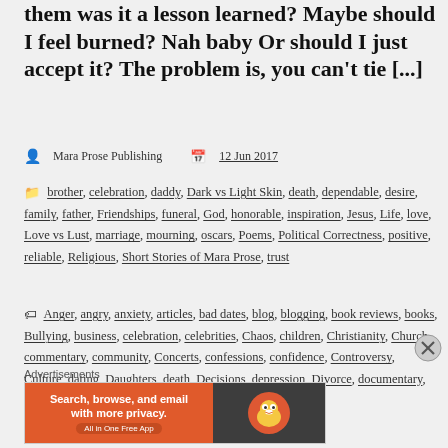them  was it a lesson learned? Maybe  should I feel burned? Nah baby Or should I just accept it? The problem is, you can't tie [...]
Mara Prose Publishing   12 Jun 2017
brother, celebration, daddy, Dark vs Light Skin, death, dependable, desire, family, father, Friendships, funeral, God, honorable, inspiration, Jesus, Life, love, Love vs Lust, marriage, mourning, oscars, Poems, Political Correctness, positive, reliable, Religious, Short Stories of Mara Prose, trust
Anger, angry, anxiety, articles, bad dates, blog, blogging, book reviews, books, Bullying, business, celebration, celebrities, Chaos, children, Christianity, Church, commentary, community, Concerts, confessions, confidence, Controversy, Culture, dating, Daughters, death, Decisions, depression, Divorce, documentary, Dogs, Drama, economy, education,
Advertisements
[Figure (other): DuckDuckGo advertisement banner: orange left panel with text 'Search, browse, and email with more privacy. All in One Free App' and dark right panel with DuckDuckGo duck logo]